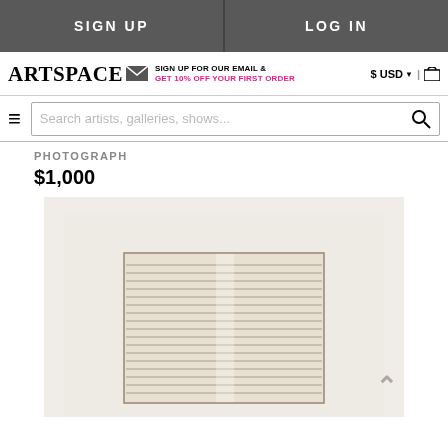SIGN UP | LOG IN
ARTSPACE — SIGN UP FOR OUR EMAIL & GET 10% OFF YOUR FIRST ORDER — $ USD | cart
Search artists, galleries, shows...
PHOTOGRAPH
$1,000
[Figure (photo): Photograph artwork showing a framed piece with horizontal stripes on beige/cream paper background, displayed against a light cream mat.]